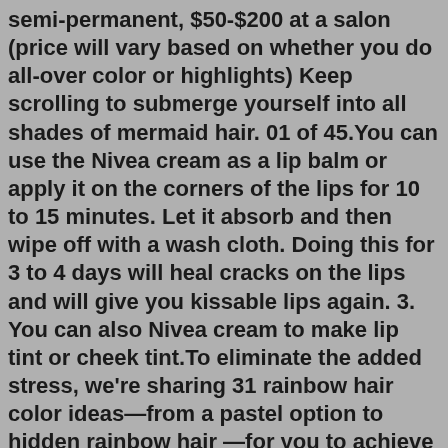semi-permanent, $50-$200 at a salon (price will vary based on whether you do all-over color or highlights) Keep scrolling to submerge yourself into all shades of mermaid hair. 01 of 45.You can use the Nivea cream as a lip balm or apply it on the corners of the lips for 10 to 15 minutes. Let it absorb and then wipe off with a wash cloth. Doing this for 3 to 4 days will heal cracks on the lips and will give you kissable lips again. 3. You can also Nivea cream to make lip tint or cheek tint.To eliminate the added stress, we're sharing 31 rainbow hair color ideas—from a pastel option to hidden rainbow hair —for you to achieve your most magnificent mane. #1. MOONSTONE. Crystal hair colors are trending at the moment, with moonstone hair being one such trend. This hair color idea is a version of hidden rainbow hair. Let your inspiration flow with our favorite breathtaking blue ombre hair ideas below! 1. Black to Blue Ombre Hair Source One of the most popular blue ombre hair ideas out there is with black. The raven roots provide a smooth transition to the cool secondary color. Natural